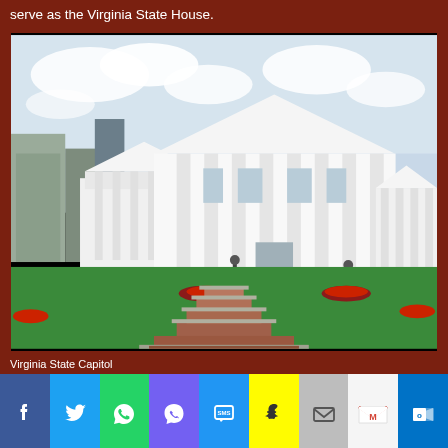serve as the Virginia State House.
[Figure (photo): Photograph of the Virginia State Capitol building, a white neoclassical building with columns and a triangular pediment, with a brick staircase pathway leading up to it through green lawns with red flower beds.]
Virginia State Capitol
[Figure (infographic): Social media share buttons bar: Facebook (blue), Twitter (light blue), WhatsApp (green), Viber (purple), SMS (blue), Snapchat (yellow), Email (gray), Gmail (white/red), Outlook (blue)]